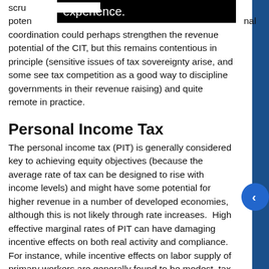scru... experience. poten... nal coordination could perhaps strengthen the revenue potential of the CIT, but this remains contentious in principle (sensitive issues of tax sovereignty arise, and some see tax competition as a good way to discipline governments in their revenue raising) and quite remote in practice.
Personal Income Tax
The personal income tax (PIT) is generally considered key to achieving equity objectives (because the average rate of tax can be designed to rise with income levels) and might have some potential for higher revenue in a number of developed economies, although this is not likely through rate increases. High effective marginal rates of PIT can have damaging incentive effects on both real activity and compliance. For instance, while incentive effects on labor supply of primary workers are generally found to be modest, tax effects on the participation decisions of secondary workers (mainly married females) can be substantial. Moreover, high tax rates for low-wage earners tend to